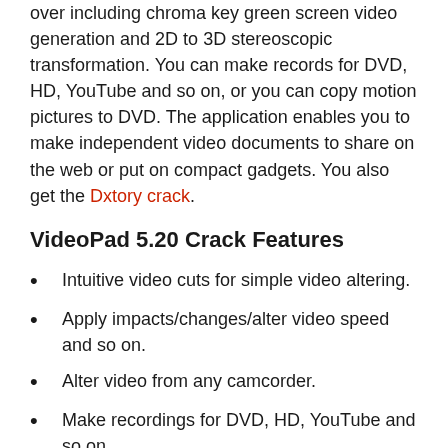over including chroma key green screen video generation and 2D to 3D stereoscopic transformation. You can make records for DVD, HD, YouTube and so on, or you can copy motion pictures to DVD. The application enables you to make independent video documents to share on the web or put on compact gadgets. You also get the Dxtory crack.
VideoPad 5.20 Crack Features
Intuitive video cuts for simple video altering.
Apply impacts/changes/alter video speed and so on.
Alter video from any camcorder.
Make recordings for DVD, HD, YouTube and so on.
VideoPad Video Editor additionally enables you to import and blend music tracks or make your